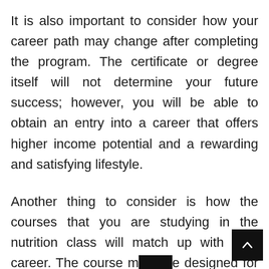It is also important to consider how your career path may change after completing the program. The certificate or degree itself will not determine your future success; however, you will be able to obtain an entry into a career that offers higher income potential and a rewarding and satisfying lifestyle.
Another thing to consider is how the courses that you are studying in the nutrition class will match up with your career. The course m[ay be] designed for people who are currently employed